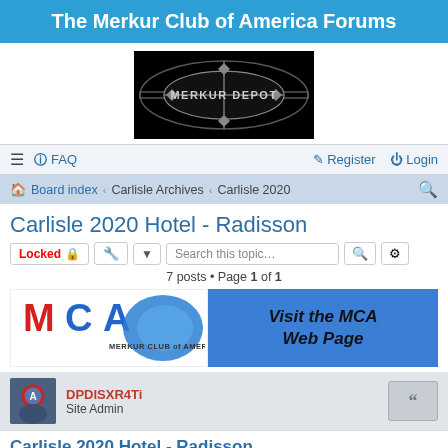The Merkur Club of America Forums
[Figure (logo): Merkur Depot logo — black background with diamond/lens shaped chrome emblem and 'MERKUR DEPOT' text]
≡  ? FAQ    Register  Login
Board index  ‹  Carlisle Archives  ‹  Carlisle 2020
Carlisle 2020 Hotel - Radisson
Locked 🔒   🔧 ▾   Search this topic…  🔍  ⚙
7 posts • Page 1 of 1
[Figure (logo): MCA Merkur Club of America banner logo on left, and blue box with italic text 'Visit the MCA Web Page' on right]
DPDISXR4Ti
Site Admin
Carlisle 2020 Hotel - Radisson